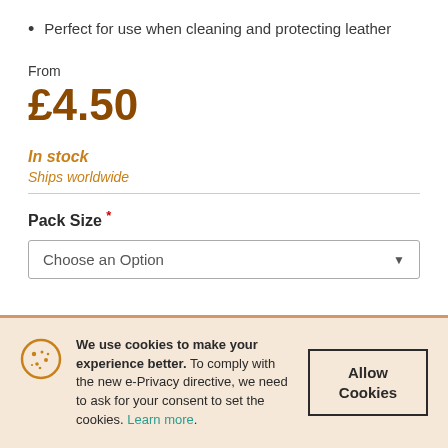Perfect for use when cleaning and protecting leather
From
£4.50
In stock
Ships worldwide
Pack Size *
Choose an Option
We use cookies to make your experience better. To comply with the new e-Privacy directive, we need to ask for your consent to set the cookies. Learn more.